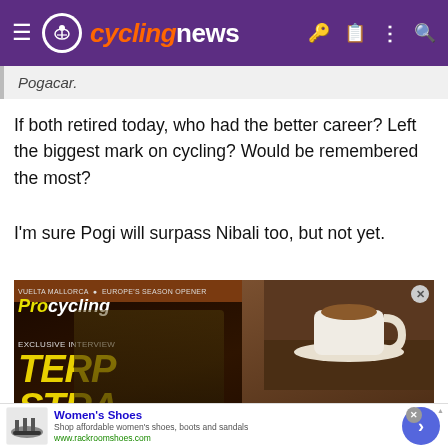cyclingnews
Pogacar.
If both retired today, who had the better career? Left the biggest mark on cycling? Would be remembered the most?
I'm sure Pogi will surpass Nibali too, but not yet.
[Figure (photo): Advertisement for ProCycling magazine featuring TERPSTRA on the cover with ROMAIN BARDET, text SAVE UP TO 32%]
[Figure (photo): Advertisement for Women's Shoes - Shop affordable women's shoes, boots and sandals - www.rackroomshoes.com]